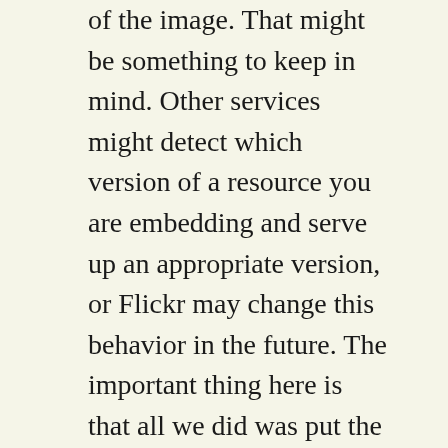of the image. That might be something to keep in mind. Other services might detect which version of a resource you are embedding and serve up an appropriate version, or Flickr may change this behavior in the future. The important thing here is that all we did was put the URL on a line by itself in our post, and WordPress magically figured out what to do.